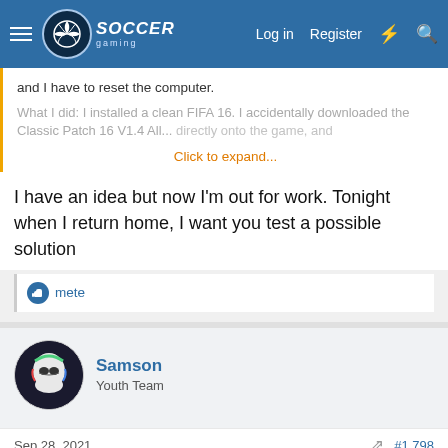SoccerGaming — Log in  Register
and I have to reset the computer.
What I did: I installed a clean FIFA 16. I accidentally downloaded the Classic Patch 16 V1.4 All...directly onto the game, and
Click to expand...
I have an idea but now I'm out for work. Tonight when I return home, I want you test a possible solution
mete
Samson
Youth Team
Sep 28, 2021
#1,798
ACICOG said:
I have an idea but now I'm out for work. Tonight when I return home, I want yo